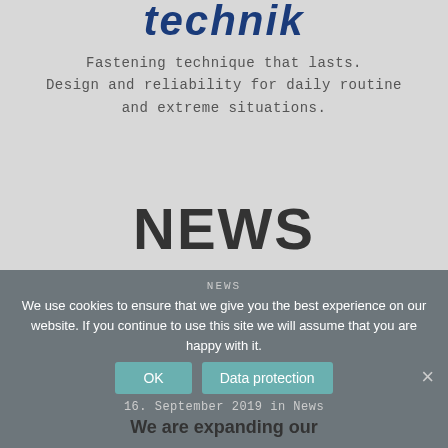technik
Fastening technique that lasts.
Design and reliability for daily routine
and extreme situations.
NEWS
NEWS
We use cookies to ensure that we give you the best experience on our website. If you continue to use this site we will assume that you are happy with it.
16. September 2019 in News
We are expanding our